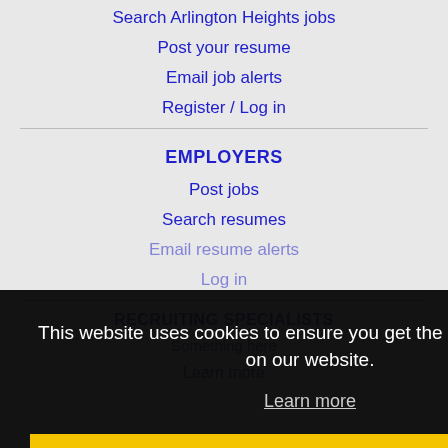Search Arlington Heights jobs
Post your resume
Email job alerts
Register / Log in
EMPLOYERS
Post jobs
Search resumes
Email resume alerts
Log in
RECRUITING SPECIALISTS
This website uses cookies to ensure you get the best experience on our website.
Learn more
Got it!
Learn more